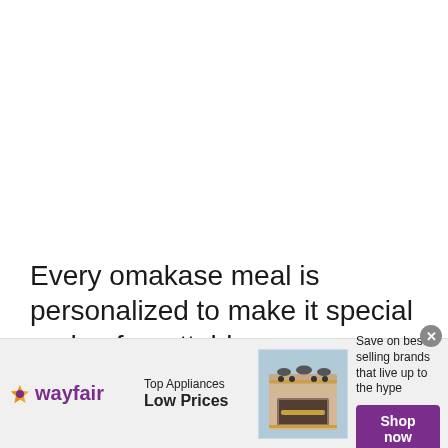Every omakase meal is personalized to make it special and unforgettable.
[Figure (infographic): Wayfair advertisement banner: Wayfair logo on left, 'Top Appliances Low Prices' copy in center-left, image of a range/stove in center, 'Save on best selling brands that live up to the hype' text with purple 'Shop now' button on right. Close button (X) in top-right corner.]